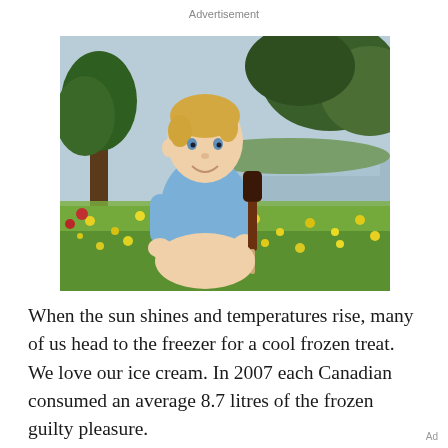Advertisement
[Figure (photo): A young blonde toddler boy in a light blue short-sleeve shirt sitting outdoors on grass surrounded by yellow wildflowers, holding a chocolate-covered ice cream bar on a stick. A lake and trees are visible in the background on a sunny day.]
When the sun shines and temperatures rise, many of us head to the freezer for a cool frozen treat. We love our ice cream. In 2007 each Canadian consumed an average 8.7 litres of the frozen guilty pleasure.
Ad